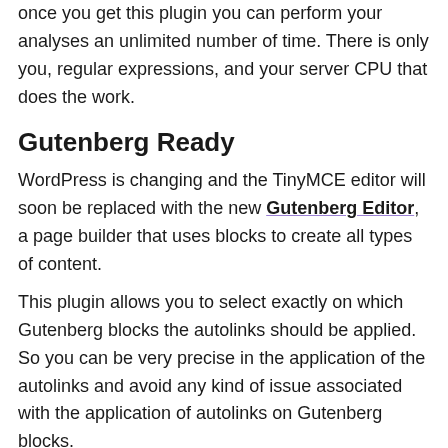once you get this plugin you can perform your analyses an unlimited number of time. There is only you, regular expressions, and your server CPU that does the work.
Gutenberg Ready
WordPress is changing and the TinyMCE editor will soon be replaced with the new Gutenberg Editor, a page builder that uses blocks to create all types of content.
This plugin allows you to select exactly on which Gutenberg blocks the autolinks should be applied. So you can be very precise in the application of the autolinks and avoid any kind of issue associated with the application of autolinks on Gutenberg blocks.
Multisite Ready
This plugin can also be used on a WordPress Network, and supports both a Network Activation ( the plugin will be